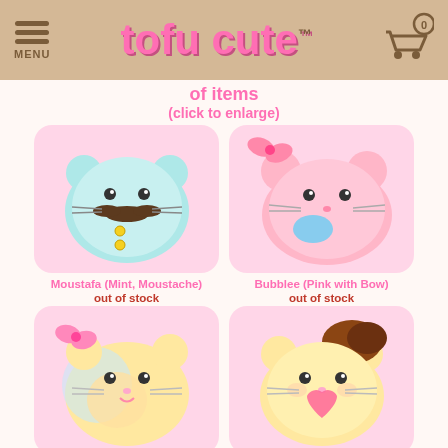tofu cute™ MENU [cart] 0
of items
(click to enlarge)
[Figure (photo): Mint blue kawaii cat squishy named Moustafa with moustache]
Moustafa (Mint, Moustache)
out of stock
[Figure (photo): Pink kawaii cat squishy named Bubblee with bow]
Bubblee (Pink with Bow)
out of stock
[Figure (photo): Rainbow/yellow kawaii cat squishy named Kupkat with pink top]
Kupkat (Rainbow, Pink Top)
out of stock
[Figure (photo): Yellow kawaii cat squishy named Tiramister with heart and brown hair]
Tiramister (Yellow, Heart)
out of stock
[Figure (photo): Pink kawaii cat squishy partially visible at bottom of page]